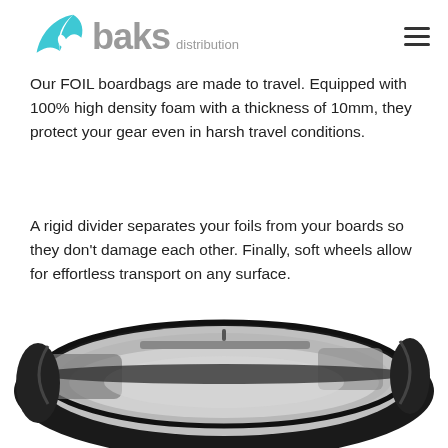baks distribution
Our FOIL boardbags are made to travel. Equipped with 100% high density foam with a thickness of 10mm, they protect your gear even in harsh travel conditions.
A rigid divider separates your foils from your boards so they don't damage each other. Finally, soft wheels allow for effortless transport on any surface.
[Figure (photo): Open foil board bag showing grey interior padding, rigid divider, and black exterior shell with zipper, viewed from above at an angle.]